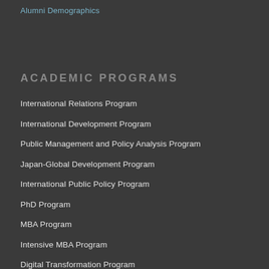Alumni Demographics
ACADEMIC PROGRAMS
International Relations Program
International Development Program
Public Management and Policy Analysis Program
Japan-Global Development Program
International Public Policy Program
PhD Program
MBA Program
Intensive MBA Program
Digital Transformation Program